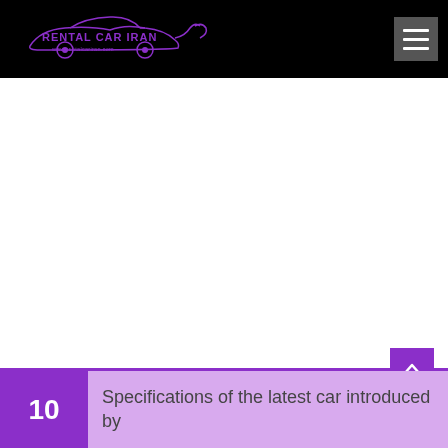Rental Car Iran — www.rentalcariran.com
[Figure (logo): Rental Car Iran logo: purple sports car silhouette with text 'Rental Car Iran' and website www.rentalcariran.com on black background]
10  Specifications of the latest car introduced by